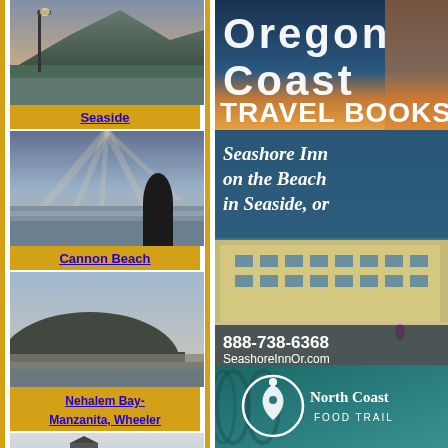[Figure (photo): Coastal landscape with lamp post, mountains and water at dusk - Seaside Oregon]
Seaside
[Figure (photo): Beach scene at twilight with a large rock formation silhouette and calm water - Cannon Beach]
Cannon Beach
[Figure (photo): Coastal bay view with dark hill and flat reflective water - Nehalem Bay area]
Nehalem Bay-Manzanita, Wheeler
[Figure (photo): Misty waterway with dock/pier structure in grey tones]
[Figure (illustration): Oregon Coast Travel Books advertisement - dark blue and orange gradient background with large white bold text]
[Figure (illustration): Seashore Inn on the Beach in Seaside, OR advertisement with hotel photo, phone 888-738-6368 and SeashoreInnOr.com]
[Figure (logo): North Coast Food Trail logo - teal background with white circular logo containing plant/leaf motif]